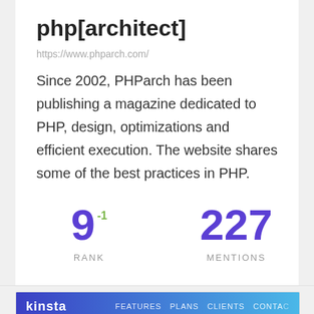php[architect]
https://www.phparch.com/
Since 2002, PHParch has been publishing a magazine dedicated to PHP, design, optimizations and efficient execution. The website shares some of the best practices in PHP.
9 -1 RANK
227 MENTIONS
[Figure (screenshot): Screenshot of Kinsta website showing navbar with logo and navigation items FEATURES, PLANS, CLIENTS, CONTACT, and a breadcrumb HOME > RESOURCES with search bar, and beginning of page title 'Kinsta Bl...']